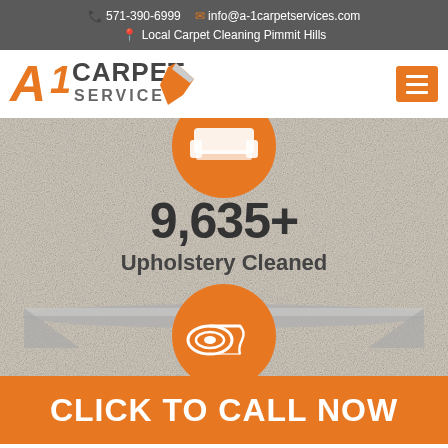571-390-6999  info@a-1carpetservices.com  Local Carpet Cleaning Pimmit Hills
[Figure (logo): A1 Carpet Services logo with orange A1 text and grey CARPET SERVICES text with a cleaning tool graphic]
[Figure (infographic): Carpet cleaning service screenshot showing upholstery icon on orange circle, stat 9,635+ Upholstery Cleaned, and carpet roll icon on orange circle over a carpet texture background]
9,635+
Upholstery Cleaned
CLICK TO CALL NOW